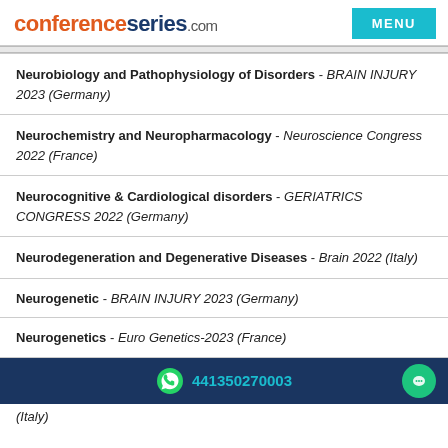conferenceseries.com
Neurobiology and Pathophysiology of Disorders - BRAIN INJURY 2023 (Germany)
Neurochemistry and Neuropharmacology - Neuroscience Congress 2022 (France)
Neurocognitive & Cardiological disorders - GERIATRICS CONGRESS 2022 (Germany)
Neurodegeneration and Degenerative Diseases - Brain 2022 (Italy)
Neurogenetic - BRAIN INJURY 2023 (Germany)
Neurogenetics - Euro Genetics-2023 (France)
441350270003
(Italy)